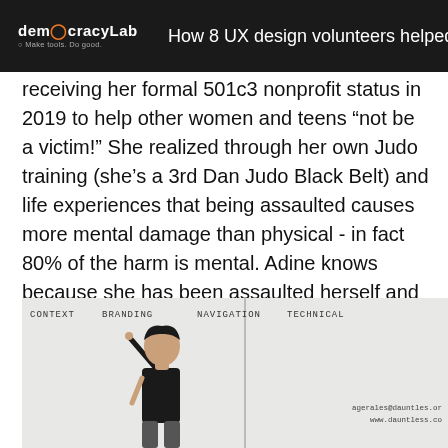How 8 UX design volunteers helped a loc
receiving her formal 501c3 nonprofit status in 2019 to help other women and teens “not be a victim!” She realized through her own Judo training (she’s a 3rd Dan Judo Black Belt) and life experiences that being assaulted causes more mental damage than physical - in fact 80% of the harm is mental. Adine knows because she has been assaulted herself and has suffered the consequences.
[Figure (photo): A woman presenting at a whiteboard with columns labeled CONTEXT, BRANDING, NAVIGATION, TECHNICAL. Contact info visible on the right side of the whiteboard.]